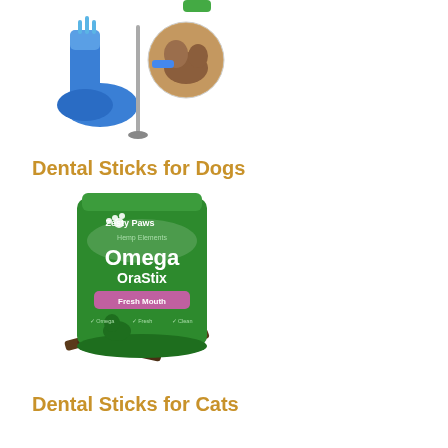[Figure (photo): Blue silicone dog toothbrush toy and a small circular product photo of a dog being brushed, along with a cleaning brush tool]
Dental Sticks for Dogs
[Figure (photo): Green bag of Zesty Paws Hemp Elements Omega OraStix dental sticks for dogs with dog treats scattered at the bottom]
Dental Sticks for Cats